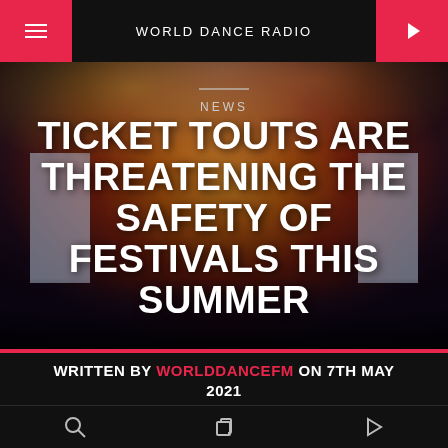WORLD DANCE RADIO
[Figure (photo): Festival crowd with fireworks and stage lighting in the background, people celebrating at a music festival at night]
NEWS
TICKET TOUTS ARE THREATENING THE SAFETY OF FESTIVALS THIS SUMMER
WRITTEN BY WORLDDANCEFM ON 7TH MAY 2021
Search, Pages, Play icons